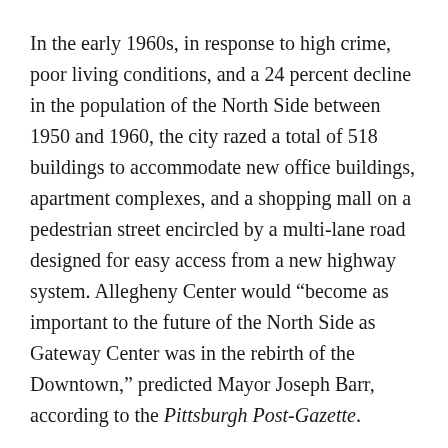In the early 1960s, in response to high crime, poor living conditions, and a 24 percent decline in the population of the North Side between 1950 and 1960, the city razed a total of 518 buildings to accommodate new office buildings, apartment complexes, and a shopping mall on a pedestrian street encircled by a multi-lane road designed for easy access from a new highway system. Allegheny Center would “become as important to the future of the North Side as Gateway Center was in the rebirth of the Downtown,” predicted Mayor Joseph Barr, according to the Pittsburgh Post-Gazette.